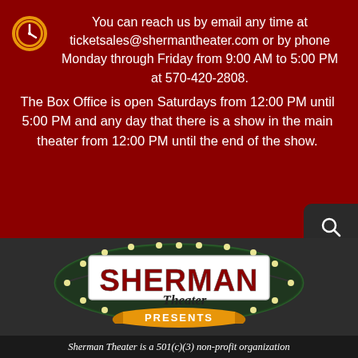You can reach us by email any time at ticketsales@shermantheater.com or by phone Monday through Friday from 9:00 AM to 5:00 PM at 570-420-2808. The Box Office is open Saturdays from 12:00 PM until 5:00 PM and any day that there is a show in the main theater from 12:00 PM until the end of the show.
[Figure (logo): Sherman Theater Presents logo — theatrical marquee sign with bulb lights, red block letters spelling SHERMAN on white background, cursive Theater script below, yellow ribbon banner with PRESENTS text]
Sherman Theater is a 501(c)(3) non-profit organization